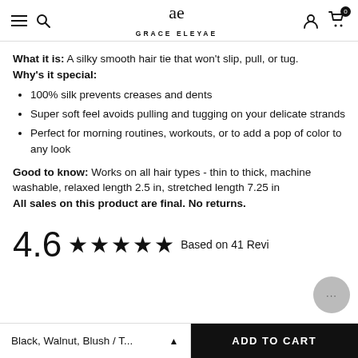GRACE ELEYAE
What it is: A silky smooth hair tie that won't slip, pull, or tug.
Why's it special:
100% silk prevents creases and dents
Super soft feel avoids pulling and tugging on your delicate strands
Perfect for morning routines, workouts, or to add a pop of color to any look
Good to know: Works on all hair types - thin to thick, machine washable, relaxed length 2.5 in, stretched length 7.25 in
All sales on this product are final. No returns.
4.6 ★★★★★ Based on 41 Revi
Black, Walnut, Blush / T...   ADD TO CART